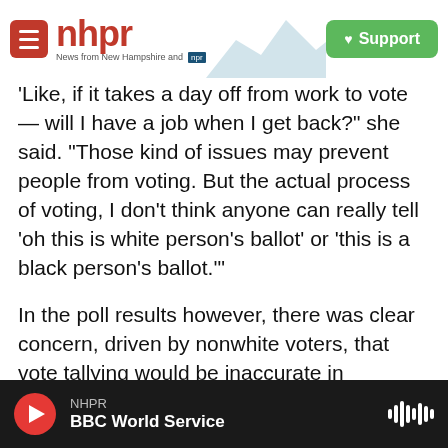nhpr — News from New Hampshire and NPR | Support
'Like, if it takes a day off from work to vote — will I have a job when I get back?' she said. "Those kind of issues may prevent people from voting. But the actual process of voting, I don't think anyone can really tell 'oh this is white person's ballot' or 'this is a black person's ballot.'"
In the poll results however, there was clear concern, driven by nonwhite voters, that vote tallying would be inaccurate in November.
While speaking with NPR, Bonner went on to mention Robert Mueller's ongoing Russia probe as something that makes her uncertain all votes are
NHPR — BBC World Service